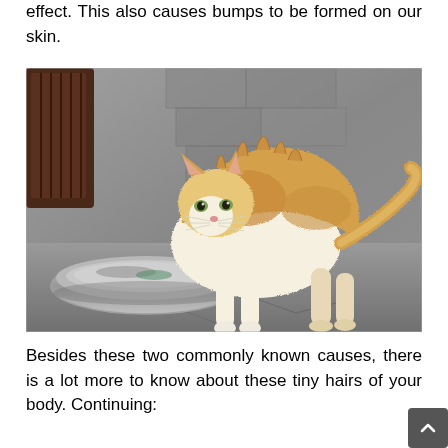effect. This also causes bumps to be formed on our skin.
[Figure (photo): An orange and white cat with raised fur standing beside a metal food bowl on a concrete floor near a stone wall]
Besides these two commonly known causes, there is a lot more to know about these tiny hairs of your body. Continuing: